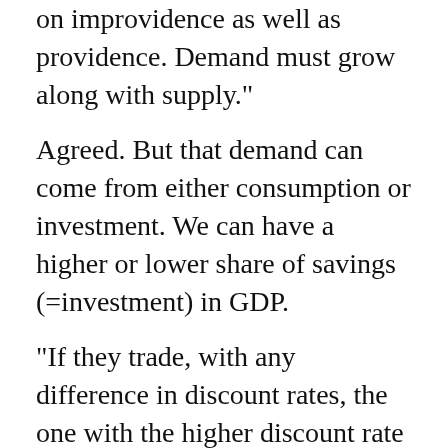on improvidence as well as providence. Demand must grow along with supply."
Agreed. But that demand can come from either consumption or investment. We can have a higher or lower share of savings (=investment) in GDP.
"If they trade, with any difference in discount rates, the one with the higher discount rate will become impoverished,..."
Yep. This has always been something that bothered me. Take the simplest example of what you are talking about: 2 infinitely-lived agents, identical